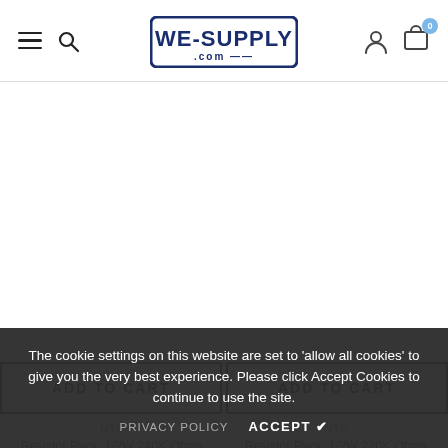WE-SUPPLY.com — navigation header with hamburger menu, search icon, logo, user icon, cart (0)
ADD TO CART
ADD TO CART
NTE
Resistor Pack: 1/2W 240K Ohms
$1.59
NTE
Resistor Pack: 1/2W 220K Ohms
$1.59
The cookie settings on this website are set to 'allow all cookies' to give you the very best experience. Please click Accept Cookies to continue to use the site.
PRIVACY POLICY   ACCEPT ✓